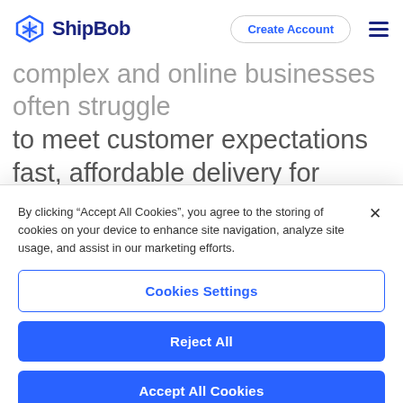ShipBob | Create Account
complex and online businesses often struggle to meet customer expectations fast, affordable delivery for international orders.
By clicking “Accept All Cookies”, you agree to the storing of cookies on your device to enhance site navigation, analyze site usage, and assist in our marketing efforts.
Cookies Settings
Reject All
Accept All Cookies